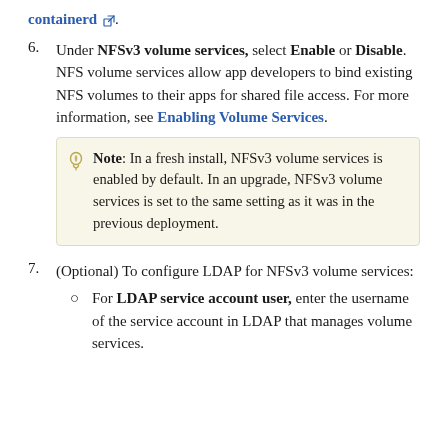containerd (external link).
6. Under NFSv3 volume services, select Enable or Disable. NFS volume services allow app developers to bind existing NFS volumes to their apps for shared file access. For more information, see Enabling Volume Services.
Note: In a fresh install, NFSv3 volume services is enabled by default. In an upgrade, NFSv3 volume services is set to the same setting as it was in the previous deployment.
7. (Optional) To configure LDAP for NFSv3 volume services:
For LDAP service account user, enter the username of the service account in LDAP that manages volume services.